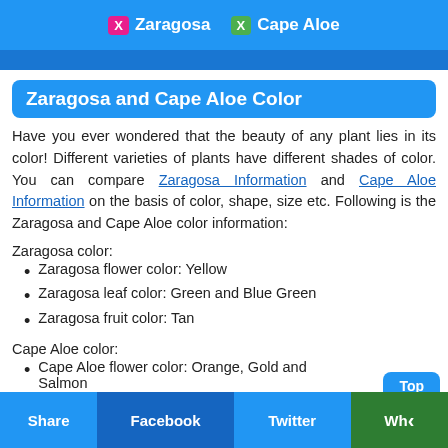Zaragosa  Cape Aloe
Zaragosa and Cape Aloe Color
Have you ever wondered that the beauty of any plant lies in its color! Different varieties of plants have different shades of color. You can compare Zaragosa Information and Cape Aloe Information on the basis of color, shape, size etc. Following is the Zaragosa and Cape Aloe color information:
Zaragosa color:
Zaragosa flower color: Yellow
Zaragosa leaf color: Green and Blue Green
Zaragosa fruit color: Tan
Cape Aloe color:
Cape Aloe flower color: Orange, Gold and Salmon
Cape Aloe leaf color: Blue G...
Share  Facebook  Twitter  Wh...